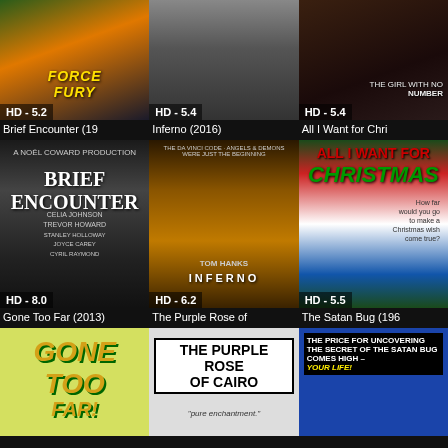[Figure (photo): Movie poster for a superhero/action movie with green character, rating HD - 5.2]
[Figure (photo): Movie poster showing two people walking on a road, rating HD - 5.4]
[Figure (photo): Movie poster for The Girl With No Number, rating HD - 5.4]
Brief Encounter (19
Inferno (2016)
All I Want for Chri
[Figure (photo): Movie poster for Brief Encounter featuring Noel Coward's Brief Encounter with Celia Johnson and Trevor Howard, rating HD - 8.0]
[Figure (photo): Movie poster for Inferno (2016) with Tom Hanks in Italian street, rating HD - 6.2]
[Figure (photo): Movie poster for All I Want for Christmas, rating HD - 5.5]
Gone Too Far (2013)
The Purple Rose of
The Satan Bug (196
[Figure (photo): Movie poster for Gone Too Far (2013) with colorful text]
[Figure (photo): Movie poster for The Purple Rose of Cairo]
[Figure (photo): Movie poster for The Satan Bug with text: The price for uncovering the secret of the Satan Bug comes high - YOUR LIFE!]